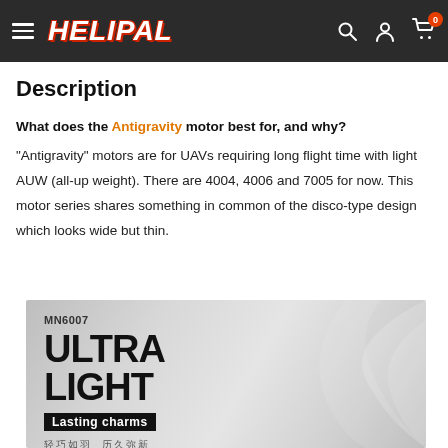HELIPAL
Description
What does the Antigravity motor best for, and why?
"Antigravity" motors are for UAVs requiring long flight time with light AUW (all-up weight). There are 4004, 4006 and 7005 for now. This motor series shares something in common of the disco-type design which looks wide but thin.
[Figure (photo): Product image with MN6007 ULTRA LIGHT branding, 'Lasting charms' tagline, Chinese characters below, gray gradient background with swoosh design]